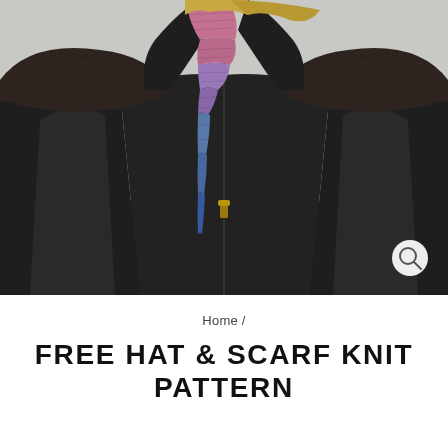[Figure (photo): Woman wearing a black leather zip-up jacket with suede shoulder panels, and a multicolored knit scarf (pink, lavender, blue tones) visible at the neckline. A magnify/zoom icon button appears in the bottom-right corner of the photo.]
Home /
FREE HAT & SCARF KNIT PATTERN